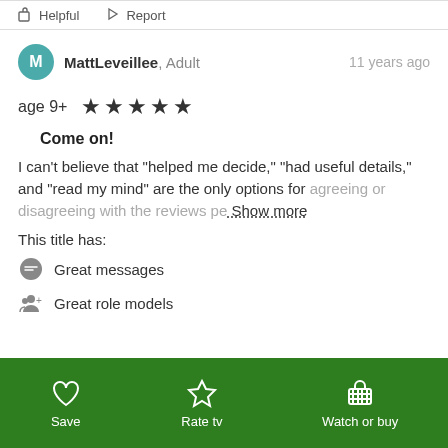Helpful  Report
MattLeveillee, Adult  11 years ago
age 9+  ★★★★★
Come on!
I can't believe that "helped me decide," "had useful details," and "read my mind" are the only options for agreeing or disagreeing with the reviews pe…  Show more
This title has:
Great messages
Great role models
Save  Rate tv  Watch or buy